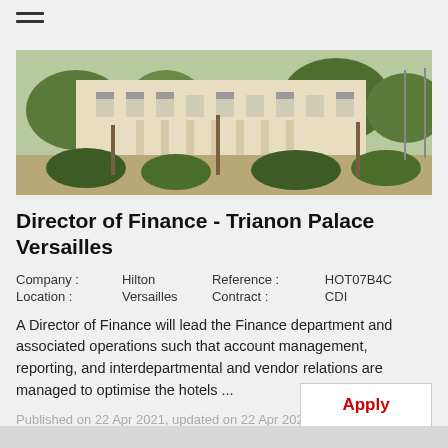[Figure (photo): Exterior photo of Trianon Palace Versailles hotel building with gardens and trees in the foreground]
Director of Finance - Trianon Palace Versailles
Company : Hilton   Reference : HOT07B4C
Location :  Versailles   Contract : CDI
A Director of Finance will lead the Finance department and associated operations such that account management, reporting, and interdepartmental and vendor relations are managed to optimise the hotels ...
Published on 22 Apr 2021, updated on 22 Apr 2021